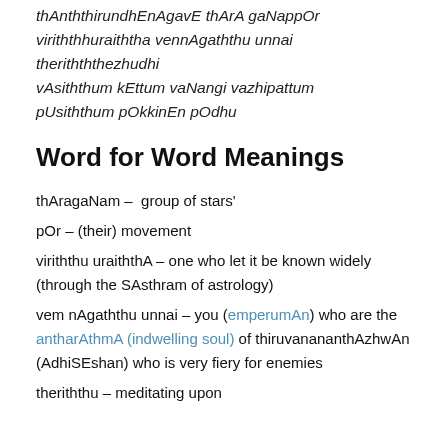thAntthirundhEnAgavE thArA gaNappOr viriththuraiththa vennAgaththu unnai therithththezhudhi vAsiththum kEttum vaNangi vazhipattum pUsiththum pOkkinEn pOdhu
Word for Word Meanings
thAragaNam – group of stars'
pOr – (their) movement
viriththu uraiththA – one who let it be known widely (through the SAsthram of astrology)
vem nAgaththu unnai – you (emperumAn) who are the antharAthmA (indwelling soul) of thiruvanananthAzhwAn (AdhiSEshan) who is very fiery for enemies
theriththu – meditating upon